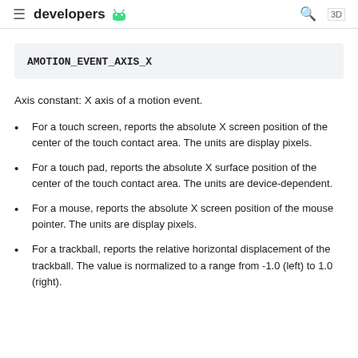≡ developers [android logo]
AMOTION_EVENT_AXIS_X
Axis constant: X axis of a motion event.
For a touch screen, reports the absolute X screen position of the center of the touch contact area. The units are display pixels.
For a touch pad, reports the absolute X surface position of the center of the touch contact area. The units are device-dependent.
For a mouse, reports the absolute X screen position of the mouse pointer. The units are display pixels.
For a trackball, reports the relative horizontal displacement of the trackball. The value is normalized to a range from -1.0 (left) to 1.0 (right).